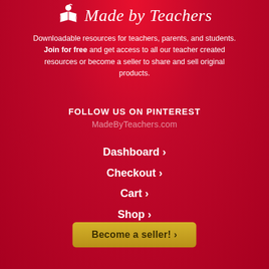[Figure (logo): Made by Teachers logo with a white open book icon and apple above it, followed by italic text 'Made by Teachers']
Downloadable resources for teachers, parents, and students. Join for free and get access to all our teacher created resources or become a seller to share and sell original products.
FOLLOW US ON PINTEREST
MadeByTeachers.com
Dashboard ›
Checkout ›
Cart ›
Shop ›
Become a seller! ›